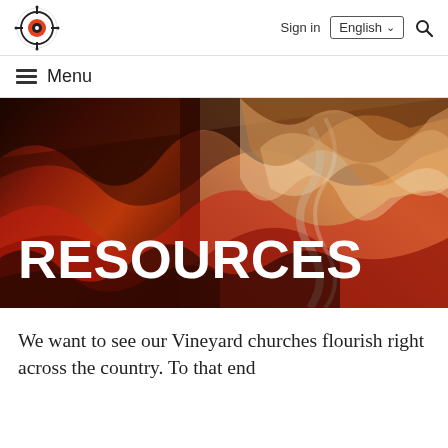[Figure (logo): Vineyard circular logo with crosshair target design in black and red/orange]
Sign in  English ▾  🔍
≡  Menu
[Figure (photo): Abstract marble texture background with swirling patterns in red, black, orange, and cream tones with white bold text RESOURCES overlaid]
RESOURCES
We want to see our Vineyard churches flourish right across the country. To that end